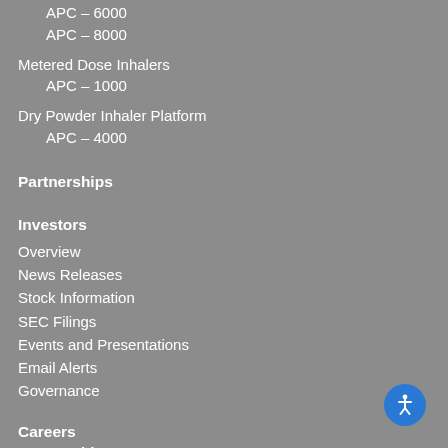APC – 6000
APC – 8000
Metered Dose Inhalers
APC – 1000
Dry Powder Inhaler Platform
APC – 4000
Partnerships
Investors
Overview
News Releases
Stock Information
SEC Filings
Events and Presentations
Email Alerts
Governance
Careers
Partnerships
Contact Us